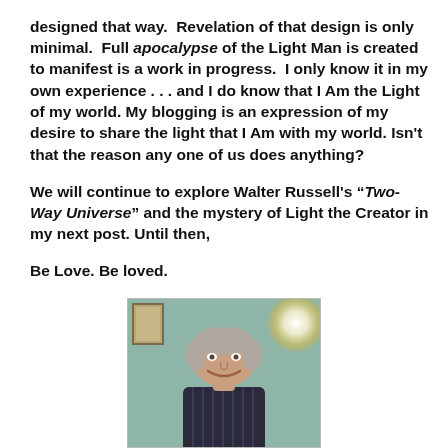designed that way. Revelation of that design is only minimal. Full apocalypse of the Light Man is created to manifest is a work in progress. I only know it in my own experience . . . and I do know that I Am the Light of my world. My blogging is an expression of my desire to share the light that I Am with my world. Isn't that the reason any one of us does anything?
We will continue to explore Walter Russell's “Two-Way Universe” and the mystery of Light the Creator in my next post. Until then,
Be Love. Be loved.
[Figure (photo): Photograph of an older man with grey hair, smiling, wearing a dark striped shirt, against a teal/green background with a framed picture on the left and a bright light orb on the upper right.]